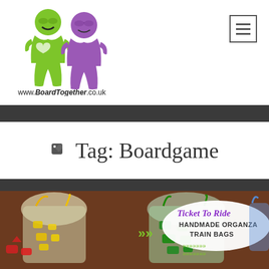[Figure (logo): BoardTogether website logo with two meeples (green and purple) and text www.BoardTogether.co.uk]
[Figure (other): Hamburger menu button (three horizontal lines in a square border)]
Tag: Boardgame
[Figure (photo): Photo of colorful organza drawstring bags containing board game train pieces (red, yellow, green, blue) for Ticket To Ride, with a label reading 'Ticket To Ride Handmade Organza Train Bags']